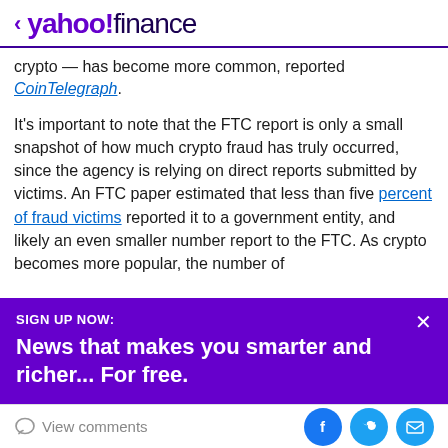< yahoo!finance
crypto — has become more common, reported CoinTelegraph.
It's important to note that the FTC report is only a small snapshot of how much crypto fraud has truly occurred, since the agency is relying on direct reports submitted by victims. An FTC paper estimated that less than five percent of fraud victims reported it to a government entity, and likely an even smaller number report to the FTC. As crypto becomes more popular, the number of
SIGN UP NOW:
News that makes you smarter and richer... For free.
View comments